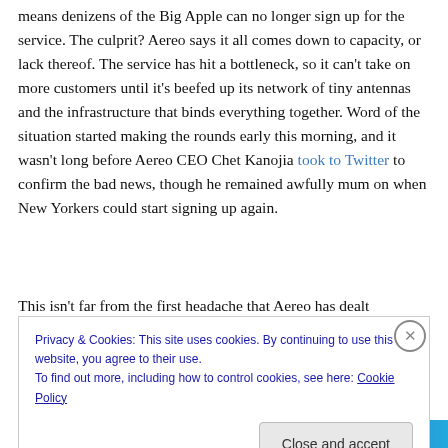means denizens of the Big Apple can no longer sign up for the service. The culprit? Aereo says it all comes down to capacity, or lack thereof. The service has hit a bottleneck, so it can't take on more customers until it's beefed up its network of tiny antennas and the infrastructure that binds everything together. Word of the situation started making the rounds early this morning, and it wasn't long before Aereo CEO Chet Kanojia took to Twitter to confirm the bad news, though he remained awfully mum on when New Yorkers could start signing up again.
This isn't far from the first headache that Aereo has dealt
Privacy & Cookies: This site uses cookies. By continuing to use this website, you agree to their use.
To find out more, including how to control cookies, see here: Cookie Policy